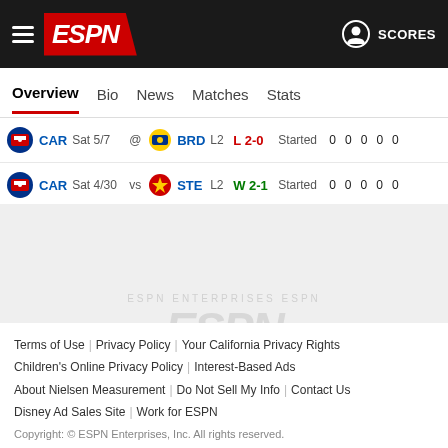ESPN — SCORES
Overview | Bio | News | Matches | Stats
| Team | Date |  | Opp | Lg | Result | Status | 0 | 0 | 0 | 0 | 0 |
| --- | --- | --- | --- | --- | --- | --- | --- | --- | --- | --- | --- |
| CAR | Sat 5/7 | @ | BRD | L2 | L 2-0 | Started | 0 | 0 | 0 | 0 | 0 |
| CAR | Sat 4/30 | vs | STE | L2 | W 2-1 | Started | 0 | 0 | 0 | 0 | 0 |
[Figure (logo): ESPN watermark logo in light gray]
Terms of Use | Privacy Policy | Your California Privacy Rights | Children's Online Privacy Policy | Interest-Based Ads | About Nielsen Measurement | Do Not Sell My Info | Contact Us | Disney Ad Sales Site | Work for ESPN
Copyright: © ESPN Enterprises, Inc. All rights reserved.